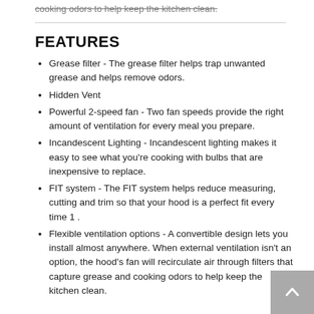cooking odors to help keep the kitchen clean.
FEATURES
Grease filter - The grease filter helps trap unwanted grease and helps remove odors.
Hidden Vent
Powerful 2-speed fan - Two fan speeds provide the right amount of ventilation for every meal you prepare.
Incandescent Lighting - Incandescent lighting makes it easy to see what you're cooking with bulbs that are inexpensive to replace.
FIT system - The FIT system helps reduce measuring, cutting and trim so that your hood is a perfect fit every time 1 .
Flexible ventilation options - A convertible design lets you install almost anywhere. When external ventilation isn't an option, the hood's fan will recirculate air through filters that capture grease and cooking odors to help keep the kitchen clean.